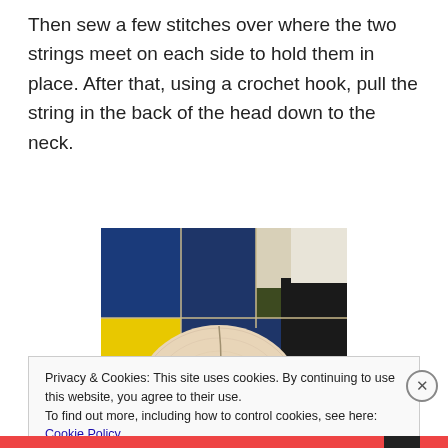Then sew a few stitches over where the two strings meet on each side to hold them in place.  After that, using a crochet hook, pull the string in the back of the head down to the neck.
[Figure (photo): Top-down view of a handmade doll head showing a seam or string pulled through, resting on a patchwork quilt background with blue, yellow, black, and white fabric sections.]
Privacy & Cookies: This site uses cookies. By continuing to use this website, you agree to their use.
To find out more, including how to control cookies, see here: Cookie Policy
Close and accept